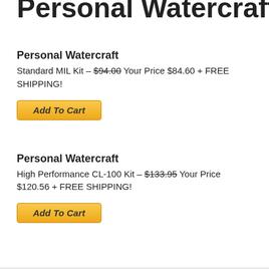Personal Watercraft
Personal Watercraft
Standard MIL Kit – $94.00 Your Price $84.60 + FREE SHIPPING!
[Figure (other): Add To Cart button (orange/gold gradient)]
Personal Watercraft
High Performance CL-100 Kit – $133.95 Your Price $120.56 + FREE SHIPPING!
[Figure (other): Add To Cart button (orange/gold gradient)]